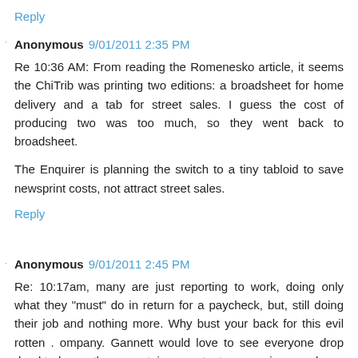Reply
Anonymous 9/01/2011 2:35 PM
Re 10:36 AM: From reading the Romenesko article, it seems the ChiTrib was printing two editions: a broadsheet for home delivery and a tab for street sales. I guess the cost of producing two was too much, so they went back to broadsheet.

The Enquirer is planning the switch to a tiny tabloid to save newsprint costs, not attract street sales.
Reply
Anonymous 9/01/2011 2:45 PM
Re: 10:17am, many are just reporting to work, doing only what they "must" do in return for a paycheck, but, still doing their job and nothing more. Why bust your back for this evil rotten . ompany. Gannett would love to see everyone drop dead today so the corrupt, incompetent non- caring people